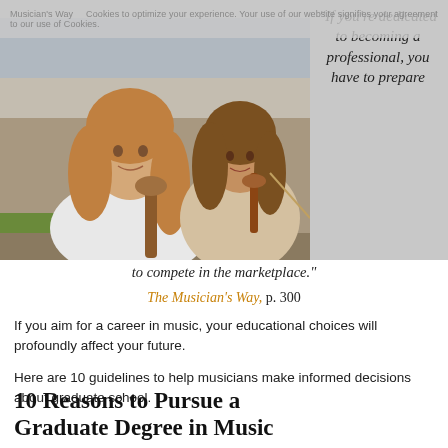[Figure (photo): Two young women musicians outdoors: one holding a cello in foreground, one playing violin in background.]
Musician's Way    Cookies to optimize your experience. Your use of our website signifies your agreement to our use of Cookies.
“If you’re dedicated to becoming a professional, you have to prepare to compete in the marketplace.”
The Musician’s Way, p. 300
If you aim for a career in music, your educational choices will profoundly affect your future.
Here are 10 guidelines to help musicians make informed decisions about graduate school.
10 Reasons to Pursue a Graduate Degree in Music